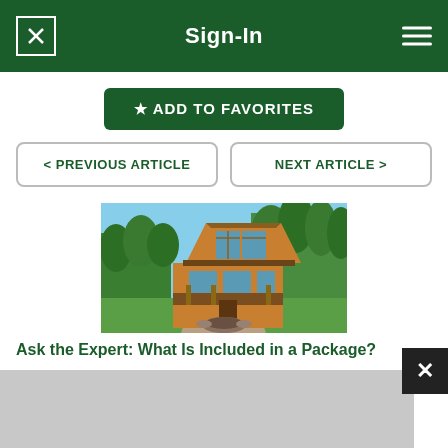Sign-In
★ ADD TO FAVORITES
< PREVIOUS ARTICLE
NEXT ARTICLE >
[Figure (photo): Photo of a large log cabin style home with tall glass windows in an A-frame gable, surrounded by trees and lawn, with a stone fire pit in the foreground]
Ask the Expert: What Is Included in a Package?